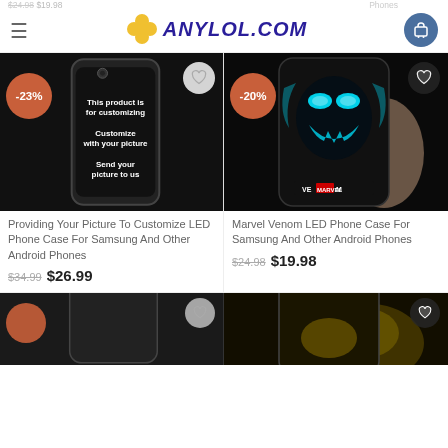ANYLOL.COM
[Figure (photo): Custom LED phone case for Samsung - black case with text 'This product is for customizing. Customize with your picture. Send your picture to us.']
Providing Your Picture To Customize LED Phone Case For Samsung And Other Android Phones
$34.99  $26.99
[Figure (photo): Marvel Venom LED Phone Case for Samsung - glowing cyan Venom design on black background held in hand]
Marvel Venom LED Phone Case For Samsung And Other Android Phones
$24.98  $19.98
[Figure (photo): Partially visible phone case bottom left]
[Figure (photo): Partially visible phone case bottom right with yellow/gold glow]